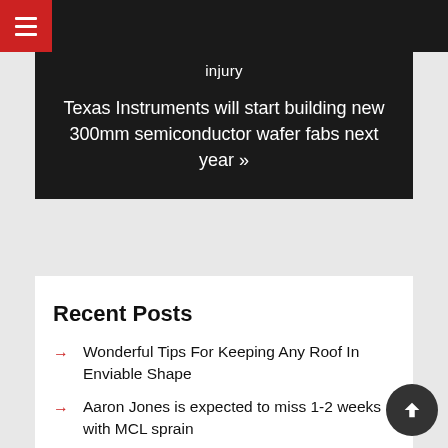injury
Texas Instruments will start building new 300mm semiconductor wafer fabs next year »
Recent Posts
Wonderful Tips For Keeping Any Roof In Enviable Shape
Aaron Jones is expected to miss 1-2 weeks with MCL sprain
Digging up Hollywood's plant howlers